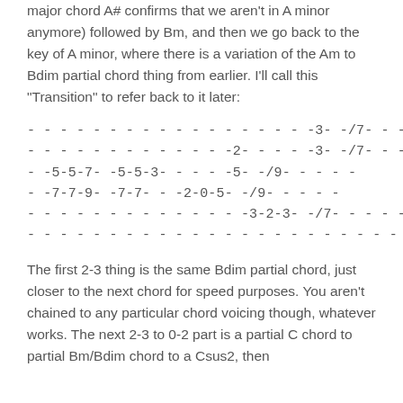major chord A# confirms that we aren't in A minor anymore) followed by Bm, and then we go back to the key of A minor, where there is a variation of the Am to Bdim partial chord thing from earlier. I'll call this "Transition" to refer back to it later:
[Figure (other): Guitar tablature showing a musical transition passage with fret numbers and dashes across 6 strings]
The first 2-3 thing is the same Bdim partial chord, just closer to the next chord for speed purposes. You aren't chained to any particular chord voicing though, whatever works. The next 2-3 to 0-2 part is a partial C chord to partial Bm/Bdim chord to a Csus2, then